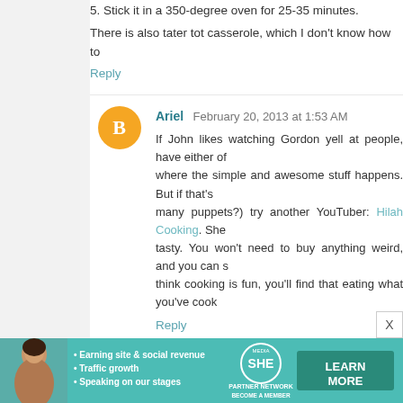5. Stick it in a 350-degree oven for 25-35 minutes.
There is also tater tot casserole, which I don't know how to
Reply
Ariel  February 20, 2013 at 1:53 AM
If John likes watching Gordon yell at people, have either of where the simple and awesome stuff happens. But if that's many puppets?) try another YouTuber: Hilah Cooking. She tasty. You won't need to buy anything weird, and you can s think cooking is fun, you'll find that eating what you've cook
Reply
Amy Carrigan  February 20, 2013 at 2:00 AM
This is my favorite "working mama" meal: rotisserie chicke with green salsa. Throw that on a taco shell (hard or so leftovers for taco salad. :-)
Reply
[Figure (infographic): SHE Media partner network advertisement banner with woman photo, bullet points about earning/traffic/speaking, SHE logo, and Learn More button]